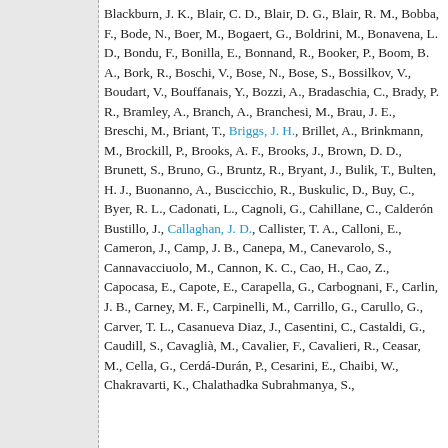Blackburn, J. K., Blair, C. D., Blair, D. G., Blair, R. M., Bobba, F., Bode, N., Boer, M., Bogaert, G., Boldrini, M., Bonavena, L. D., Bondu, F., Bonilla, E., Bonnand, R., Booker, P., Boom, B. A., Bork, R., Boschi, V., Bose, N., Bose, S., Bossilkov, V., Boudart, V., Bouffanais, Y., Bozzi, A., Bradaschia, C., Brady, P. R., Bramley, A., Branch, A., Branchesi, M., Brau, J. E., Breschi, M., Briant, T., Briggs, J. H., Brillet, A., Brinkmann, M., Brockill, P., Brooks, A. F., Brooks, J., Brown, D. D., Brunett, S., Bruno, G., Bruntz, R., Bryant, J., Bulik, T., Bulten, H. J., Buonanno, A., Buscicchio, R., Buskulic, D., Buy, C., Byer, R. L., Cadonati, L., Cagnoli, G., Cahillane, C., Calderón Bustillo, J., Callaghan, J. D., Callister, T. A., Calloni, E., Cameron, J., Camp, J. B., Canepa, M., Canevarolo, S., Cannavacciuolo, M., Cannon, K. C., Cao, H., Cao, Z., Capocasa, E., Capote, E., Carapella, G., Carbognani, F., Carlin, J. B., Carney, M. F., Carpinelli, M., Carrillo, G., Carullo, G., Carver, T. L., Casanueva Diaz, J., Casentini, C., Castaldi, G., Caudill, S., Cavaglià, M., Cavalier, F., Cavalieri, R., Ceasar, M., Cella, G., Cerdá-Durán, P., Cesarini, E., Chaibi, W., Chakravarti, K., Chalathadka Subrahmanya, S.,